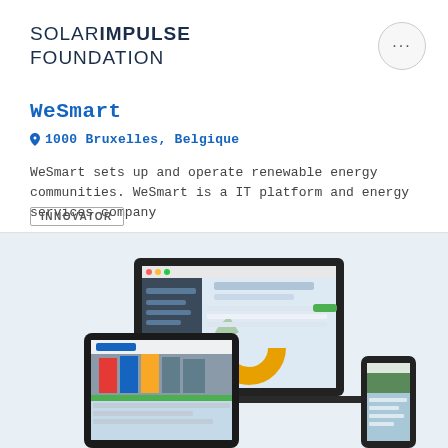SOLAR IMPULSE FOUNDATION
WeSmart
1000 Bruxelles, Belgique
WeSmart sets up and operate renewable energy communities. WeSmart is a IT platform and energy services company
INNOVATOR
[Figure (screenshot): Screenshot of WeSmart IT platform shown on laptop, tablet, and mobile phone devices against a light blue background]